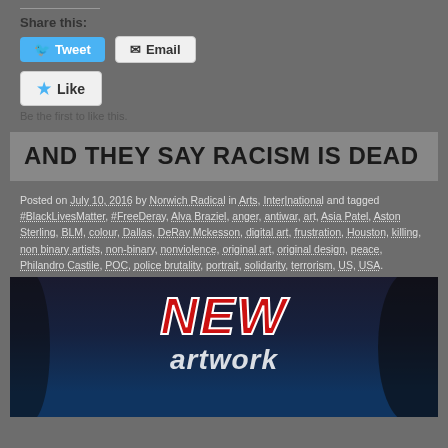Share this:
Tweet   Email
Like   Be the first to like this.
AND THEY SAY RACISM IS DEAD
Posted on July 10, 2016 by Norwich Radical in Arts, Inter|national and tagged #BlackLivesMatter, #FreeDeray, Alva Braziel, anger, antiwar, art, Asia Patel, Aston Sterling, BLM, colour, Dallas, DeRay Mckesson, digital art, frustration, Houston, killing, non binary artists, non-binary, nonviolence, original art, original design, peace, Philandro Castile, POC, police brutality, portrait, solidarity, terrorism, US, USA.
[Figure (photo): Artwork image with large red and white text reading NEW on dark background]